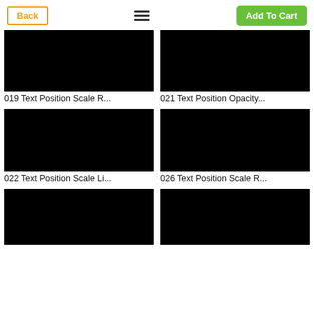Back | Menu | Add To Cart
[Figure (screenshot): Black thumbnail image for item 019 Text Position Scale R...]
019 Text Position Scale R...
[Figure (screenshot): Black thumbnail image for item 021 Text Position Opacity...]
021 Text Position Opacity...
[Figure (screenshot): Black thumbnail image for item 022 Text Position Scale Li...]
022 Text Position Scale Li...
[Figure (screenshot): Black thumbnail image for item 026 Text Position Scale R...]
026 Text Position Scale R...
[Figure (screenshot): Black thumbnail image (bottom left, partially shown)]
[Figure (screenshot): Black thumbnail image (bottom right, partially shown)]